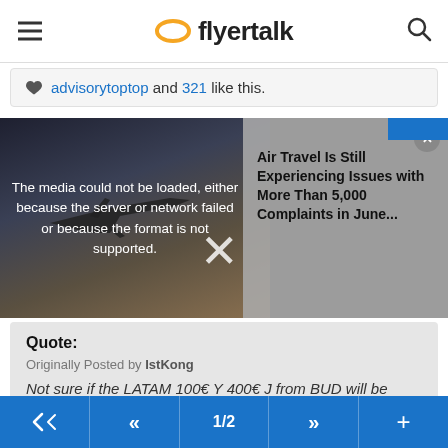flyertalk
advisorytoptop and 321 like this.
[Figure (screenshot): Video embed showing airplane with error message: The media could not be loaded, either because the server or network failed or because the format is not supported. Overlapping card reads: Air Travel Is Still Experiencing Issues with More Than 5,000 Complaints in June...]
Quote:
Originally Posted by IstKong
Not sure if the LATAM 100€ Y 400€ J from BUD will be honored though...
That is very true. Let us see how it plays out during the next days.
← << 1/2 >> +